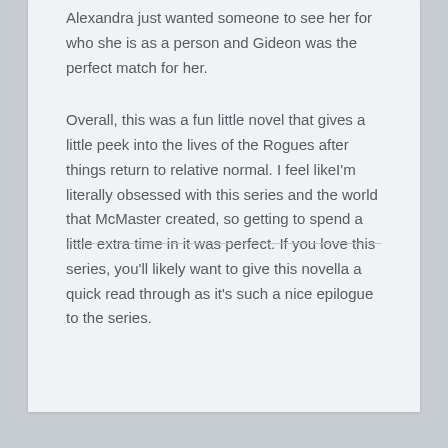Alexandra just wanted someone to see her for who she is as a person and Gideon was the perfect match for her.
Overall, this was a fun little novel that gives a little peek into the lives of the Rogues after things return to relative normal. I feel likeI'm literally obsessed with this series and the world that McMaster created, so getting to spend a little extra time in it was perfect. If you love this series, you'll likely want to give this novella a quick read through as it's such a nice epilogue to the series.